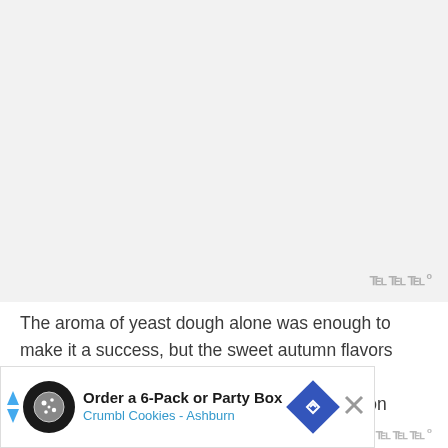[Figure (photo): Large light grey placeholder area representing an image (likely a food photo), occupying the upper portion of the page]
The aroma of yeast dough alone was enough to make it a success, but the sweet autumn flavors were the real victory. The buttery rum glaze complemented the mild pumpkin and cinnamon spice of the warm, tender yeast
[Figure (screenshot): Advertisement banner: 'Order a 6-Pack or Party Box' for Crumbl Cookies - Ashburn, with cookie icon, blue diamond arrow badge, and close button]